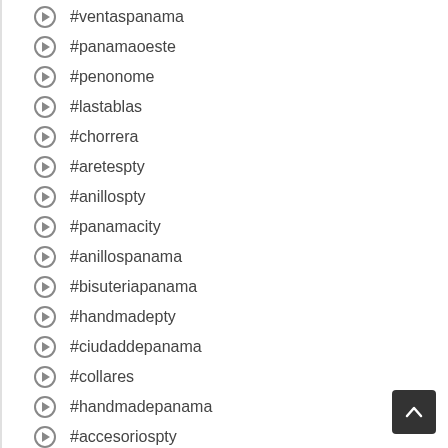#ventaspanama
#panamaoeste
#penonome
#lastablas
#chorrera
#aretespty
#anillospty
#panamacity
#anillospanama
#bisuteriapanama
#handmadepty
#ciudaddepanama
#collares
#handmadepanama
#accesoriospty
#handmade
#joyaspanama
#joyaspty